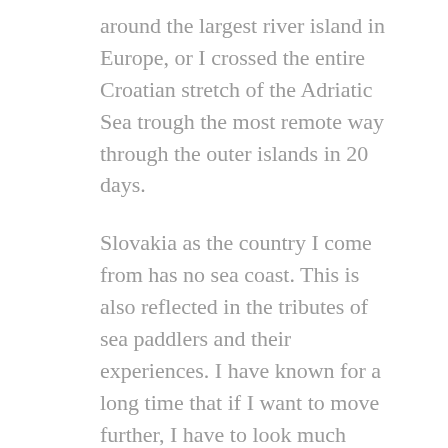around the largest river island in Europe, or I crossed the entire Croatian stretch of the Adriatic Sea trough the most remote way through the outer islands in 20 days.
Slovakia as the country I come from has no sea coast. This is also reflected in the tributes of sea paddlers and their experiences. I have known for a long time that if I want to move further, I have to look much further. And so I organized an international expedition that went around the whole of the Lofoten islands.
Apart from paddling, I like to run long distances with my dog Foxo, or just wander around the countryside. In winter I combine